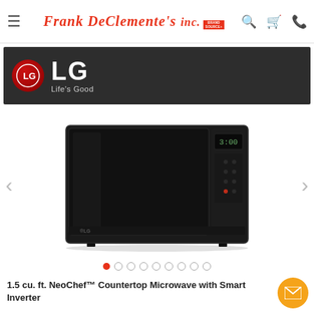Frank DeClemente's inc. — navigation header with hamburger menu, search, cart, phone icons
[Figure (logo): LG brand banner with LG logo and Life's Good tagline on dark background]
[Figure (photo): LG NeoChef black stainless steel countertop microwave product photo on white background with left and right navigation arrows and dot pagination indicators]
1.5 cu. ft. NeoChef™ Countertop Microwave with Smart Inverter